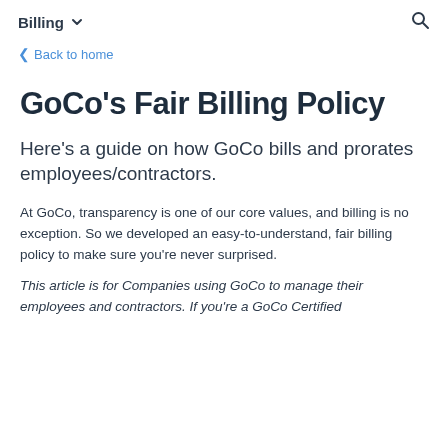Billing
< Back to home
GoCo's Fair Billing Policy
Here's a guide on how GoCo bills and prorates employees/contractors.
At GoCo, transparency is one of our core values, and billing is no exception. So we developed an easy-to-understand, fair billing policy to make sure you're never surprised.
This article is for Companies using GoCo to manage their employees and contractors. If you're a GoCo Certified